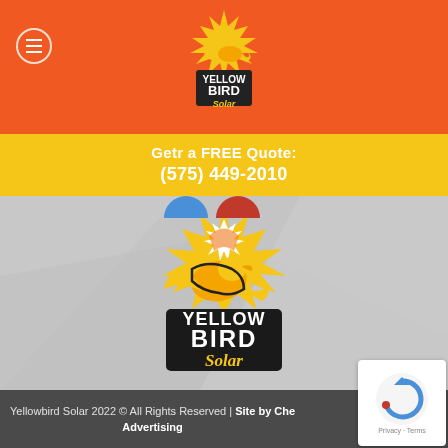[Figure (logo): Yellow Bird Solar logo in orange header bar with navigation menu button]
Getr a FREE Quote:
(575) 449-2010
[Figure (logo): Yellow Bird Solar large logo centered on gray background]
Yellowbird Solar 2022 © All Rights Reserved | Site by Che Advertising